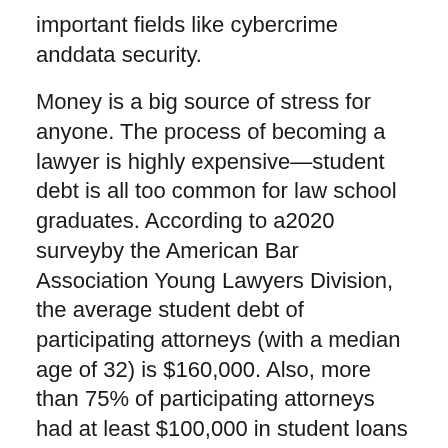important fields like cybercrime anddata security.
Money is a big source of stress for anyone. The process of becoming a lawyer is highly expensive—student debt is all too common for law school graduates. According to a2020 surveyby the American Bar Association Young Lawyers Division, the average student debt of participating attorneys (with a median age of 32) is $160,000. Also, more than 75% of participating attorneys had at least $100,000 in student loans at graduation.
Starting a legal career with a lot of debt can seem insurmountable at first when you graduate and have to start paying it all back. This means many lawyers are practicing with personal financial burdens weighing on them from day one.
Just as there are multiple sources of lawyer stress, the consequences of unmanaged stress can impact you in